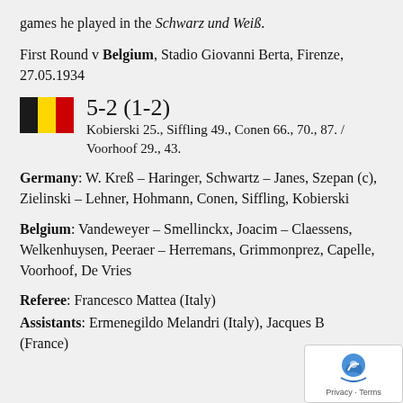games he played in the Schwarz und Weiß.
First Round v Belgium, Stadio Giovanni Berta, Firenze, 27.05.1934
[Figure (other): Belgian flag emoji followed by score 5-2 (1-2) and scorers: Kobierski 25., Siffling 49., Conen 66., 70., 87. / Voorhoof 29., 43.]
Germany: W. Kreß – Haringer, Schwartz – Janes, Szepan (c), Zielinski – Lehner, Hohmann, Conen, Siffling, Kobierski
Belgium: Vandeweyer – Smellinckx, Joacim – Claessens, Welkenhuysen, Peeraer – Herremans, Grimmonprez, Capelle, Voorhoof, De Vries
Referee: Francesco Mattea (Italy)
Assistants: Ermenegildo Melandri (Italy), Jacques B... (France)